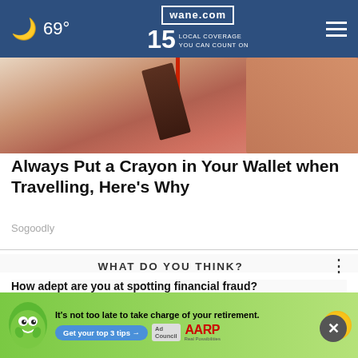69° wane.com 15 LOCAL COVERAGE YOU CAN COUNT ON
[Figure (photo): Close-up photo of a wallet with a crayon, brown/tan tones]
Always Put a Crayon in Your Wallet when Travelling, Here's Why
Sogoodly
WHAT DO YOU THINK?
How adept are you at spotting financial fraud?
Very adept
Somewhat adept
N...
Other / No opinion
[Figure (infographic): AARP advertisement banner: green background with mascot, text 'It's not too late to take charge of your retirement. Get your top 3 tips →', Ad Council badge, AARP logo, sun graphic]